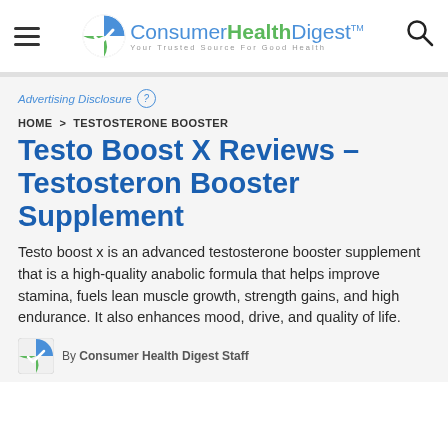Consumer Health Digest™ — Your Trusted Source For Good Health
Advertising Disclosure ?
HOME > TESTOSTERONE BOOSTER
Testo Boost X Reviews – Testosteron Booster Supplement
Testo boost x is an advanced testosterone booster supplement that is a high-quality anabolic formula that helps improve stamina, fuels lean muscle growth, strength gains, and high endurance. It also enhances mood, drive, and quality of life.
By Consumer Health Digest Staff